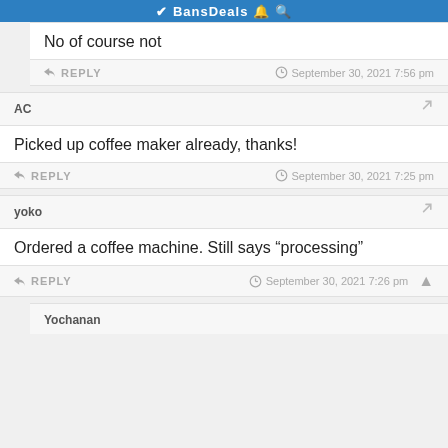BansDeals
No of course not
REPLY  September 30, 2021 7:56 pm
AC
Picked up coffee maker already, thanks!
REPLY  September 30, 2021 7:25 pm
yoko
Ordered a coffee machine. Still says “processing”
REPLY  September 30, 2021 7:26 pm
Yochanan